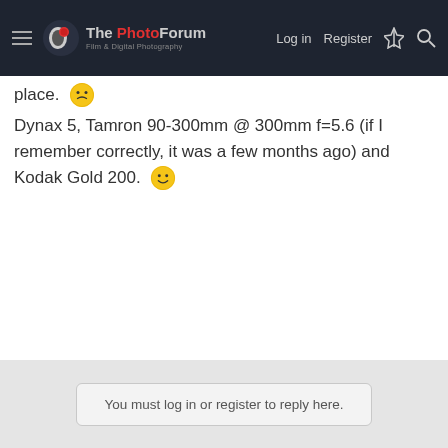The PhotoForum — Log in | Register
place. 🙁
Dynax 5, Tamron 90-300mm @ 300mm f=5.6 (if I remember correctly, it was a few months ago) and Kodak Gold 200. 🙂
You must log in or register to reply here.